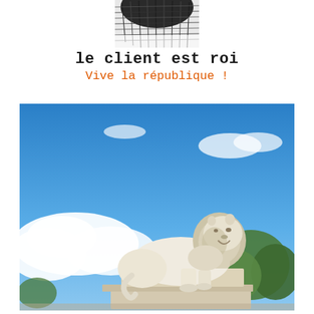[Figure (photo): Close-up photo of a black and white textured object (partially visible at top of page)]
le client est roi
Vive la république !
[Figure (photo): Photograph of a white marble lion statue on a stone pedestal against a bright blue sky with clouds; green trees visible in the background on the right]